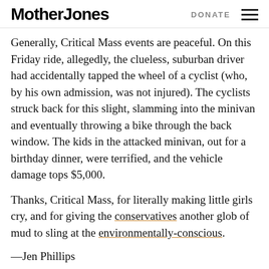Mother Jones  DONATE
Generally, Critical Mass events are peaceful. On this Friday ride, allegedly, the clueless, suburban driver had accidentally tapped the wheel of a cyclist (who, by his own admission, was not injured). The cyclists struck back for this slight, slamming into the minivan and eventually throwing a bike through the back window. The kids in the attacked minivan, out for a birthday dinner, were terrified, and the vehicle damage tops $5,000.
Thanks, Critical Mass, for literally making little girls cry, and for giving the conservatives another glob of mud to sling at the environmentally-conscious.
—Jen Phillips